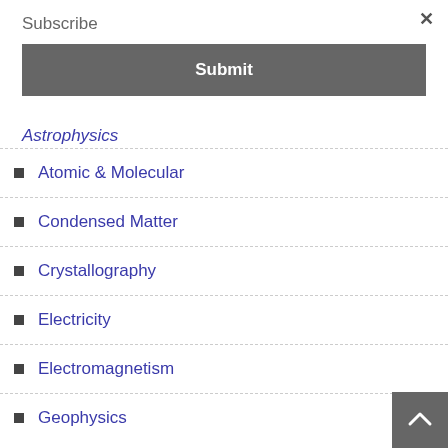Subscribe
Submit
Astrophysics
Atomic & Molecular
Condensed Matter
Crystallography
Electricity
Electromagnetism
Geophysics